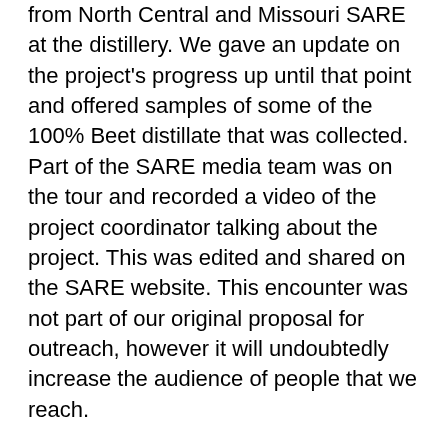from North Central and Missouri SARE at the distillery. We gave an update on the project's progress up until that point and offered samples of some of the 100% Beet distillate that was collected. Part of the SARE media team was on the tour and recorded a video of the project coordinator talking about the project. This was edited and shared on the SARE website. This encounter was not part of our original proposal for outreach, however it will undoubtedly increase the audience of people that we reach.
Throughout 2019, we have been able to provided customers with product tastings at the City Market in Kansas City, MO during Saturday markets and every weekend at the distillery's tasting room in Richmond, MO. These interactions educate hundreds of customers around the concept behind the product and how local farm produce was integrated into the distillation process. At the tasting room, customers were also able to